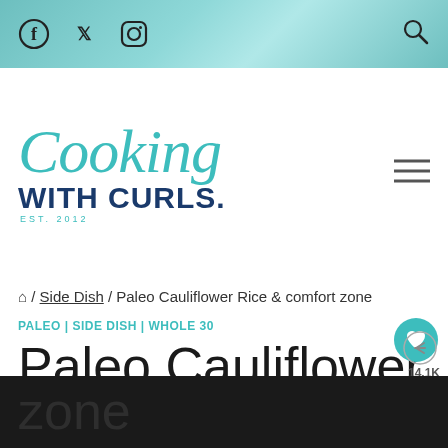Facebook Twitter Instagram | Search
[Figure (logo): Cooking with Curls logo — cursive teal 'Cooking' above bold navy 'WITH CURLS.' with 'EST. 2012' below]
🏠 / Side Dish / Paleo Cauliflower Rice & comfort zone
PALEO | SIDE DISH | WHOLE 30
Paleo Cauliflower Rice & comfort zone